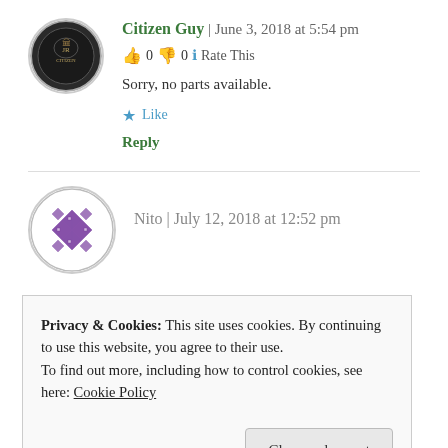[Figure (illustration): Round avatar image of Citizen Guy, a dark coin or medallion with a figure on it]
Citizen Guy | June 3, 2018 at 5:54 pm
👍 0 👎 0 ℹ Rate This
Sorry, no parts available.
★ Like
Reply
[Figure (illustration): Round avatar image of Nito, a purple geometric diamond/star pattern on white circle]
Nito | July 12, 2018 at 12:52 pm
Privacy & Cookies: This site uses cookies. By continuing to use this website, you agree to their use.
To find out more, including how to control cookies, see here: Cookie Policy
Close and accept